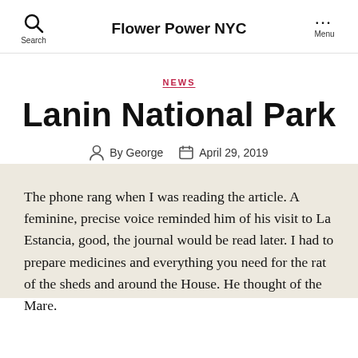Flower Power NYC
NEWS
Lanin National Park
By George   April 29, 2019
The phone rang when I was reading the article. A feminine, precise voice reminded him of his visit to La Estancia, good, the journal would be read later. I had to prepare medicines and everything you need for the rat of the sheds and around the House. He thought of the Mare.